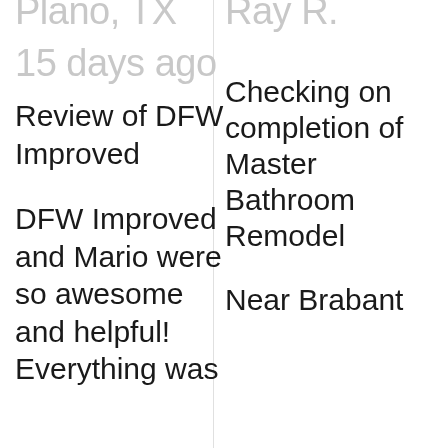Plano, TX
15 days ago
Review of DFW Improved
DFW Improved and Mario were so awesome and helpful! Everything was
Ray R.
Checking on completion of Master Bathroom Remodel
Near Brabant